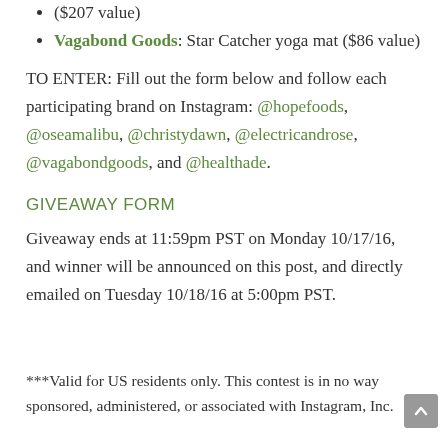($207 value)
Vagabond Goods: Star Catcher yoga mat ($86 value)
TO ENTER: Fill out the form below and follow each participating brand on Instagram: @hopefoods, @oseamalibu, @christydawn, @electricandrose, @vagabondgoods, and @healthade.
GIVEAWAY FORM
Giveaway ends at 11:59pm PST on Monday 10/17/16, and winner will be announced on this post, and directly emailed on Tuesday 10/18/16 at 5:00pm PST.
***Valid for US residents only. This contest is in no way sponsored, administered, or associated with Instagram, Inc.